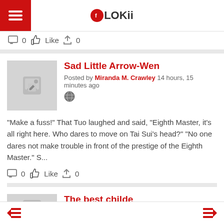FLOKii
0  Like  0
Sad Little Arrow-Wen
Posted by Miranda M. Crawley 14 hours, 15 minutes ago
"Make a fuss!" That Tuo laughed and said, "Eighth Master, it's all right here. Who dares to move on Tai Sui's head?" "No one dares not make trouble in front of the prestige of the Eighth Master." S...
0  Like  0
The best childe
Posted by Miranda M. Crawley 14 hours, 15 minutes ago